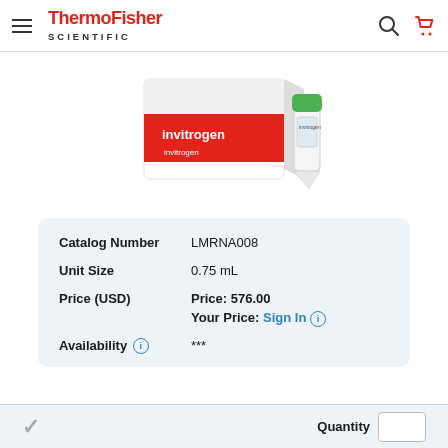[Figure (logo): ThermoFisher Scientific logo in red and black]
[Figure (photo): Invitrogen branded product box (red and white) next to a small tube with green cap on white background]
| Catalog Number | LMRNA008 |
| Unit Size | 0.75 mL |
| Price (USD) | Price: 576.00
Your Price: Sign In |
| Availability | *** |
Quantity